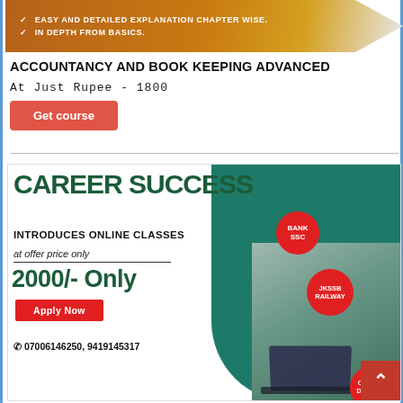[Figure (infographic): Orange banner with checkmarks: EASY AND DETAILED EXPLANATION CHAPTER WISE. IN DEPTH FROM BASICS.]
ACCOUNTANCY AND BOOK KEEPING ADVANCED
At Just Rupee - 1800
Get course
[Figure (infographic): Career Success advertisement: CAREER SUCCESS INTRODUCES ONLINE CLASSES at offer price only 2000/- Only, Apply Now, phone 07006146250, 9419145317. Badges: BANK SSC, JKSSB RAILWAY, CAT/MAT DEFENSE. Student studying on laptop image.]